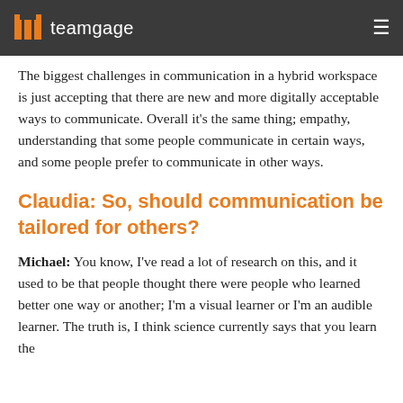teamgage
The biggest challenges in communication in a hybrid workspace is just accepting that there are new and more digitally acceptable ways to communicate. Overall it's the same thing; empathy, understanding that some people communicate in certain ways, and some people prefer to communicate in other ways.
Claudia: So, should communication be tailored for others?
Michael: You know, I've read a lot of research on this, and it used to be that people thought there were people who learned better one way or another; I'm a visual learner or I'm an audible learner. The truth is, I think science currently says that you learn the